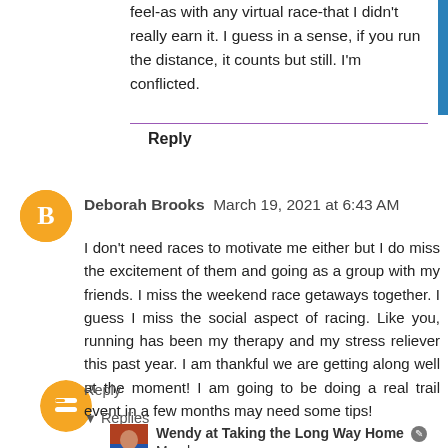feel-as with any virtual race-that I didn't really earn it. I guess in a sense, if you run the distance, it counts but still. I'm conflicted.
Reply
Deborah Brooks  March 19, 2021 at 6:43 AM
I don't need races to motivate me either but I do miss the excitement of them and going as a group with my friends. I miss the weekend race getaways together. I guess I miss the social aspect of racing. Like you, running has been my therapy and my stress reliever this past year. I am thankful we are getting along well at the moment! I am going to be doing a real trail event in a few months may need some tips!
Reply
Replies
Wendy at Taking the Long Way Home  March 19, 2021 at 11:07 AM